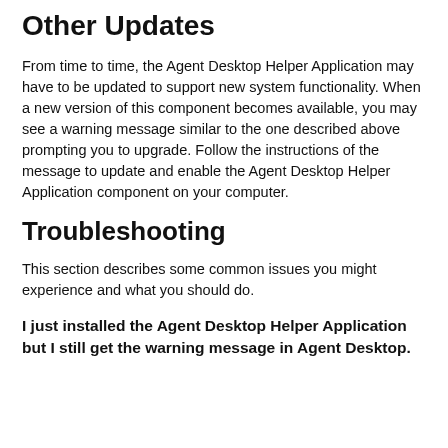Other Updates
From time to time, the Agent Desktop Helper Application may have to be updated to support new system functionality. When a new version of this component becomes available, you may see a warning message similar to the one described above prompting you to upgrade. Follow the instructions of the message to update and enable the Agent Desktop Helper Application component on your computer.
Troubleshooting
This section describes some common issues you might experience and what you should do.
I just installed the Agent Desktop Helper Application but I still get the warning message in Agent Desktop.